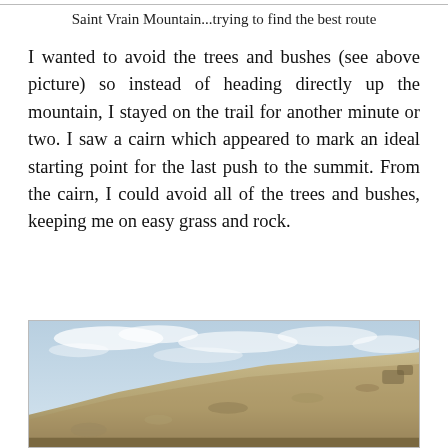Saint Vrain Mountain...trying to find the best route
I wanted to avoid the trees and bushes (see above picture) so instead of heading directly up the mountain, I stayed on the trail for another minute or two. I saw a cairn which appeared to mark an ideal starting point for the last push to the summit. From the cairn, I could avoid all of the trees and bushes, keeping me on easy grass and rock.
[Figure (photo): Photo of a rocky, grassy mountain hillside with a pale blue and cloudy sky above. The slope rises from lower right to upper right, with tan and grey rocks and sparse vegetation visible on the slope.]